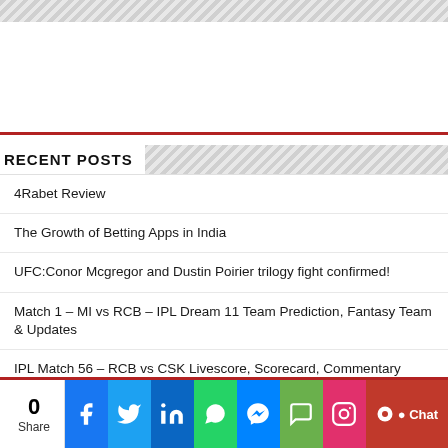[Figure (other): Diagonal striped decorative top banner]
[Figure (other): Advertisement placeholder white area with red bottom border]
RECENT POSTS
4Rabet Review
The Growth of Betting Apps in India
UFC:Conor Mcgregor and Dustin Poirier trilogy fight confirmed!
Match 1 – MI vs RCB – IPL Dream 11 Team Prediction, Fantasy Team & Updates
IPL Match 56 – RCB vs CSK Livescore, Scorecard, Commentary
[Figure (other): Social share bar with 0 shares, Facebook, Twitter, LinkedIn, WhatsApp, Messenger, SMS, Instagram, and Chat buttons]